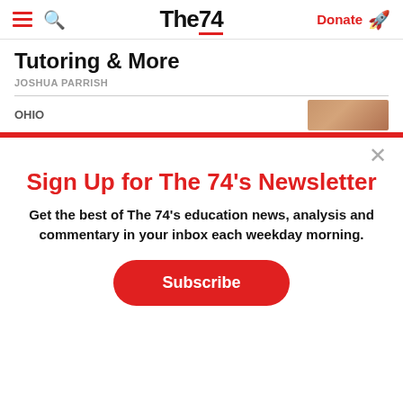The74 — Donate
Tutoring & More
JOSHUA PARRISH
OHIO
Sign Up for The 74's Newsletter
Get the best of The 74's education news, analysis and commentary in your inbox each weekday morning.
Subscribe